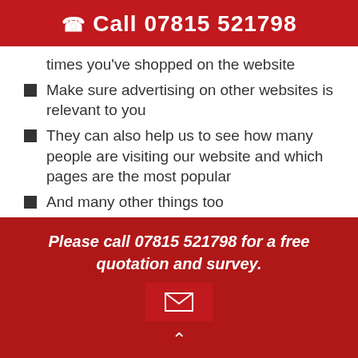Call 07815 521798
times you've shopped on the website
Make sure advertising on other websites is relevant to you
They can also help us to see how many people are visiting our website and which pages are the most popular
And many other things too
Cookies are not dangerous. They are not computer programs and cannot be used to circulate viruses.
Please call 07815 521798 for a free quotation and survey.